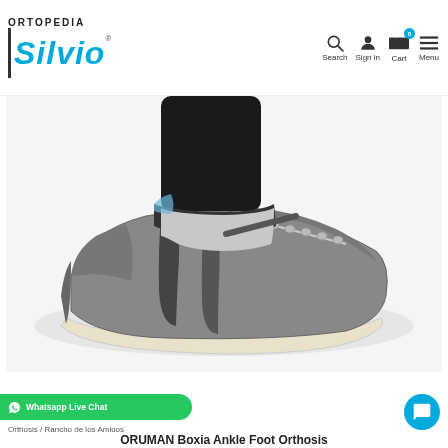ORTOPEDIA Silvio® — Search, Sign in, Cart (0), Menu
[Figure (photo): Close-up photo of a foot wearing an ankle-foot orthosis (drop foot brace) inside a grey lace-up sneaker, with a black strap visible above the shoe collar against a white background.]
Whatsapp Live Chat
Orthosis / Rancho de los Amigos
ORUMAN Boxia Ankle Foot Orthosis